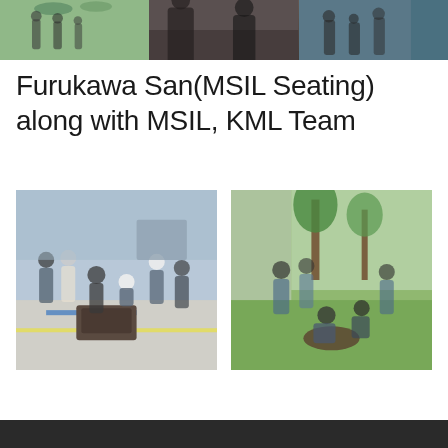[Figure (photo): Three photos at top: people in outdoor/industrial settings]
Furukawa San(MSIL Seating) along with MSIL, KML Team
[Figure (photo): Left photo: group of people in hard hats in an industrial facility examining equipment on the floor. Right photo: group of people outdoors planting or examining something in the ground near trees.]